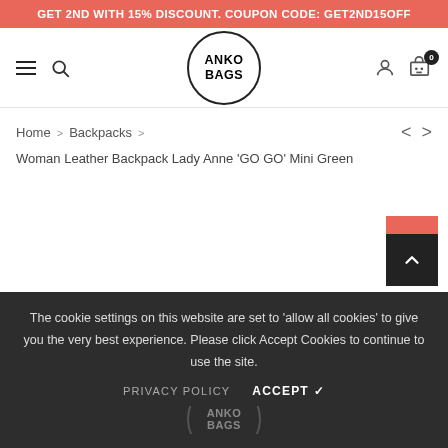GET 2ND WITH 15% DISCOUNT. COUPON CODE: GET2ND15OFF
[Figure (logo): ANKO BAGS circular logo with hamburger menu, search icon, user icon, and cart icon with badge 0]
Home > Backpacks >
Woman Leather Backpack Lady Anne 'GO GO' Mini Green
[Figure (illustration): Back to top button - dark square with upward chevron arrow, red accent above]
The cookie settings on this website are set to 'allow all cookies' to give you the very best experience. Please click Accept Cookies to continue to use the site.
PRIVACY POLICY    ACCEPT ✓